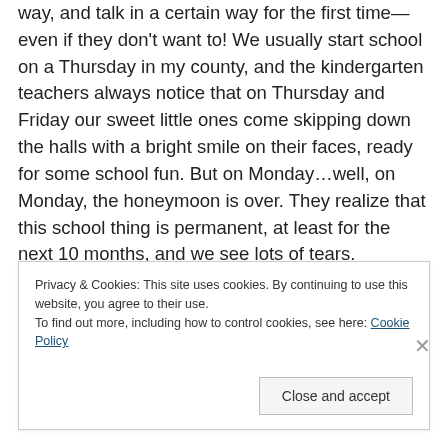way, and talk in a certain way for the first time—even if they don't want to! We usually start school on a Thursday in my county, and the kindergarten teachers always notice that on Thursday and Friday our sweet little ones come skipping down the halls with a bright smile on their faces, ready for some school fun. But on Monday…well, on Monday, the honeymoon is over. They realize that this school thing is permanent, at least for the next 10 months, and we see lots of tears.

Eventually, the tears subside and the summer gradually fades into the crisp, colorful days of autumn. Both the
Privacy & Cookies: This site uses cookies. By continuing to use this website, you agree to their use.
To find out more, including how to control cookies, see here: Cookie Policy
Close and accept